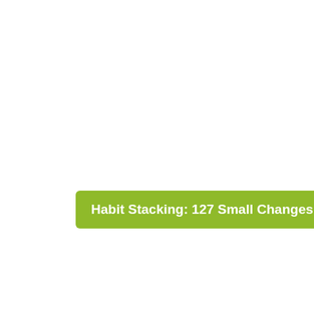Habit Stacking: 127 Small Changes